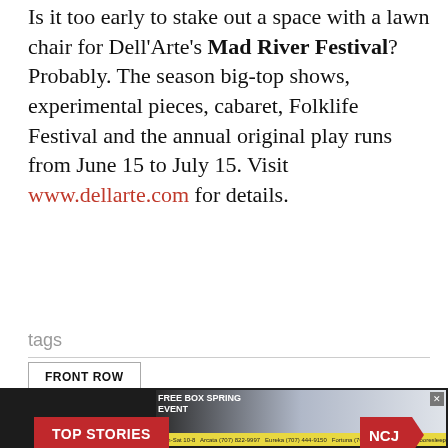Is it too early to stake out a space with a lawn chair for Dell'Arte's Mad River Festival? Probably. The season big-top shows, experimental pieces, cabaret, Folklife Festival and the annual original play runs from June 15 to July 15. Visit www.dellarte.com for details.
tags
FRONT ROW
[Figure (infographic): TOP STORIES banner with NCJ logo arrow badge on a light blue gradient background]
[Figure (screenshot): Advertisement banner: FREE BOX SPRING EVENT - Moore's Sleep World ad with store info]